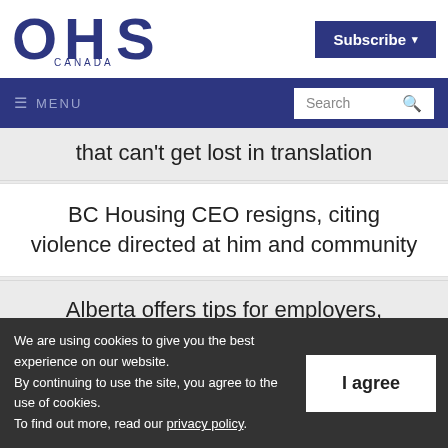[Figure (logo): OHS Canada logo — dark navy blue letters OHS large, with CANADA in small caps below]
Subscribe ▾
☰ MENU | Search 🔍
that can't get lost in translation
BC Housing CEO resigns, citing violence directed at him and community
Alberta offers tips for employers,
We are using cookies to give you the best experience on our website.
By continuing to use the site, you agree to the use of cookies.
To find out more, read our privacy policy.
I agree